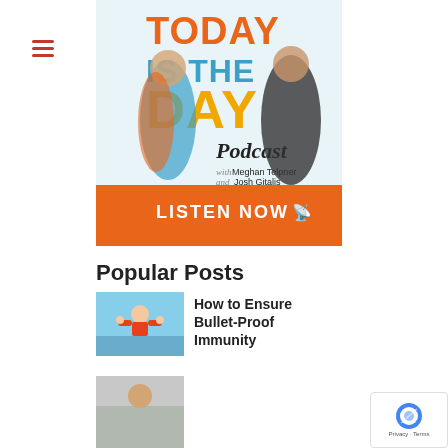[Figure (screenshot): Hamburger menu icon (three horizontal red lines)]
[Figure (illustration): Today Is The Day Podcast promotional image with Meghan Telpner and Josh Gitalis, colorful text saying TODAY IS THE DAY Podcast with Meghan Telpner and Josh Gitalis, with LISTEN NOW orange banner at bottom]
Popular Posts
[Figure (photo): Young child in red shirt flexing muscles on a dock]
How to Ensure Bullet-Proof Immunity
[Figure (photo): Partially visible image at bottom of page]